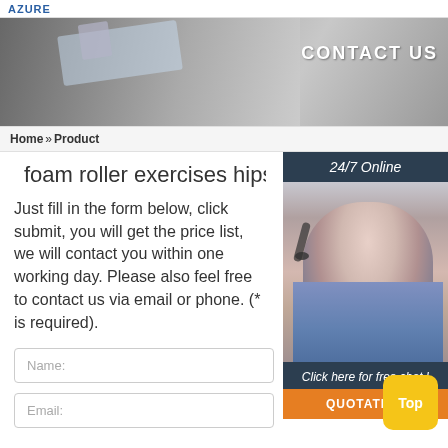AZURE
[Figure (photo): Hero banner with business person using tablet and 'CONTACT US' text overlay on grey background]
Home »Product
foam roller exercises hips an
Just fill in the form below, click submit, you will get the price list, we will contact you within one working day. Please also feel free to contact us via email or phone. (* is required).
[Figure (photo): 24/7 Online support agent - woman with headset smiling, with 'Click here for free chat!' text and QUOTATION button]
Name:
Email: